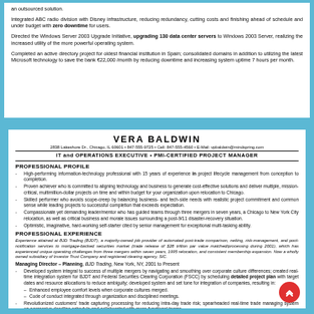an outsourced solution.
Integrated ABC radio division with Disney infrastructure, reducing redundancy, cutting costs and finishing ahead of schedule and under budget with zero downtime for users.
Directed the Windows Server 2003 Upgrade Initiative, upgrading 130 data center servers to Windows 2003 Server, realizing the increased utility of the more powerful operating system.
Completed an active directory project for oldest financial institution in Spain; consolidated domains in addition to utilizing the latest Microsoft technology to save the bank €22,000 /month by reducing downtime and increasing system uptime 7 hours per month.
VERA BALDWIN
2838 Lakeshore Dr., Chicago, IL 60601 • 847-555-9725 • Cell: 847-555-4560 • E-Mail: vpbaldwin@mindspring.com
IT and OPERATIONS EXECUTIVE • PMI-CERTIFIED PROJECT MANAGER
PROFESSIONAL PROFILE
High-performing information-technology professional with 15 years of experience in project lifecycle management from conception to completion.
Proven achiever who is committed to aligning technology and business to generate cost-effective solutions and deliver multiple, mission-critical, multimillion-dollar projects on time and within budget for your organization upon relocation to Chicago.
Skilled performer who avoids scope-creep by balancing business- and tech-side needs with realistic project commitment and common sense while leading projects to successful completion that exceeds expectation.
Compassionate yet demanding leader/mentor who has guided teams through three mergers in seven years, a Chicago to New York City relocation, as well as critical business and morale issues surrounding a post-9/11 disaster-recovery situation.
Optimistic, imaginative, hard-working self-starter cited by senior management for exceptional multi-tasking ability.
PROFESSIONAL EXPERIENCE
Experience attained at BJD Trading (BJDT), a majority-owned job provider of automated post-trade comparison, netting, risk-management, and pool-notification services to mortgage-backed securities market (trade release of $28 trillion par value matched/processing during 2001), which has experienced unique operating challenges from three mergers within seven years, 1995 relocation, and consistent membership expansion. Now a wholly owned subsidiary of Investor Trust Company and registered clearing agency, SIC.
Managing Director – Planning, BJD Trading, New York, NY, 2001 to Present
Developed system integral to success of multiple mergers by navigating and smoothing over corporate culture differences; created real-time integration system for BJDT and Federal Securities Clearing Corporation (FSCC) by scheduling detailed project plan with target dates and resource allocations to reduce ambiguity; developed system and set tone for integration of companies, resulting in:
Enhanced employee comfort levels when corporate cultures merged.
Code of conduct integrated through organization and disciplined meetings.
Revolutionized customers' trade capturing processing for reducing intra-day trade risk; spearheaded real-time trade managing system on aggressive deadline schedule and collaborated with cross-functional teams